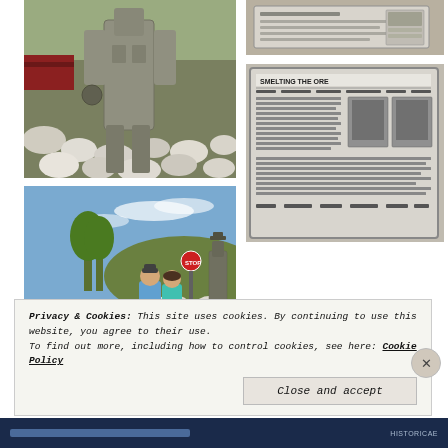[Figure (photo): Close-up of a metal/concrete sculpture of a miner figure standing among white rocks with red railroad cars in background]
[Figure (photo): Informational placard or sign with text and dark frame, partially visible]
[Figure (photo): Informational sign titled 'SMELTING THE ORE' with text columns and two black-and-white historical photographs]
[Figure (photo): Two visitors (man in blue shirt and woman in teal shirt) viewing a miner statue and mining equipment display outdoors under blue sky]
Privacy & Cookies: This site uses cookies. By continuing to use this website, you agree to their use.
To find out more, including how to control cookies, see here: Cookie Policy
Close and accept